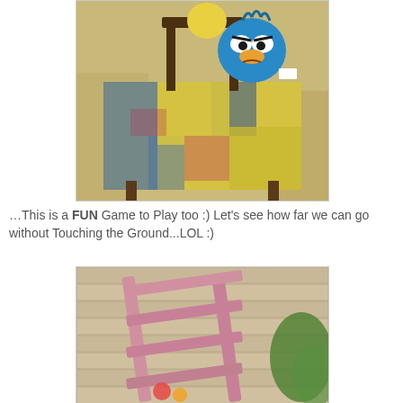[Figure (photo): A blue Angry Birds plush toy sitting on a colorful painted wooden chair or table with peeling blue, yellow, and red paint, set outdoors on sand.]
…This is a FUN Game to Play too :) Let's see how far we can go without Touching the Ground...LOL :)
[Figure (photo): A pink wooden ladder or chair leaning against a wooden plank wall outdoors, with green vegetation visible.]